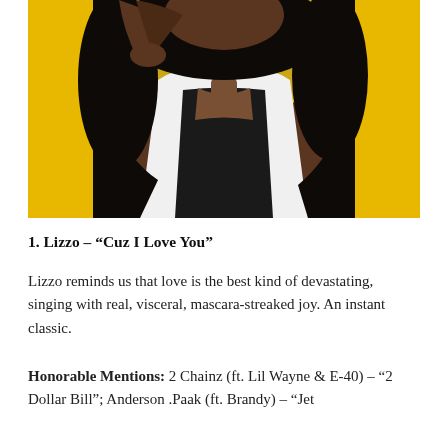[Figure (photo): A woman with long dark hair posing against a yellow background, wearing a white fur vest over a black top, with one hand raised to her head.]
1. Lizzo – “Cuz I Love You”
Lizzo reminds us that love is the best kind of devastating, singing with real, visceral, mascara-streaked joy. An instant classic.
Honorable Mentions: 2 Chainz (ft. Lil Wayne & E-40) – “2 Dollar Bill”; Anderson .Paak (ft. Brandy) – “Jet